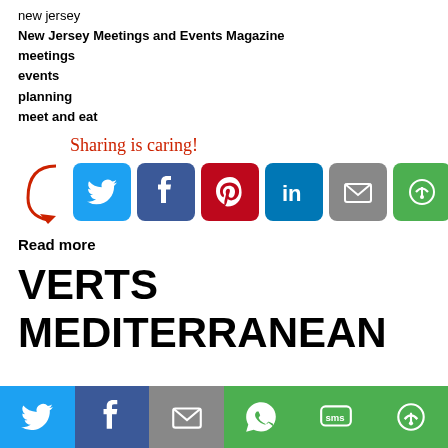new jersey
New Jersey Meetings and Events Magazine
meetings
events
planning
meet and eat
[Figure (infographic): Sharing is caring! social share buttons: Twitter (blue), Facebook (dark blue), Pinterest (red), LinkedIn (blue), Email (gray), More (green), with red arrow pointing to icons]
Read more
VERTS MEDITERRANEAN GRILL EXPANDED TO OFFER OFF-SITE CATERING
[Figure (infographic): Bottom social share bar with Twitter, Facebook, Email, WhatsApp, SMS, and More buttons]